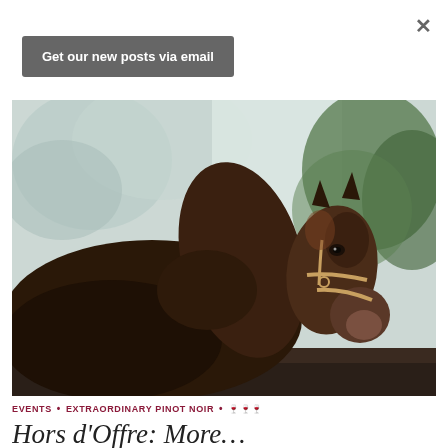×
Get our new posts via email
[Figure (photo): Close-up photograph of a bay/dark brown horse wearing a halter, facing slightly right, with blurred green trees in the background]
EVENTS • EXTRAORDINARY PINOT NOIR • 🍷🍷🍷
Hors d'Offre: More...